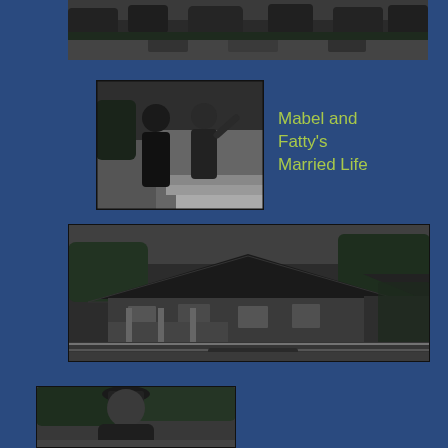[Figure (photo): Black and white aerial/street view photograph showing a road or parking area with cars and trees, top of page]
[Figure (photo): Black and white photograph of two people standing on steps outside a building, one waving]
Mabel and Fatty's Married Life
[Figure (photo): Black and white photograph of a craftsman bungalow house with a large roof, trees and a car visible in front]
[Figure (photo): Black and white photograph of a heavyset man standing outdoors, partial view at bottom of page]